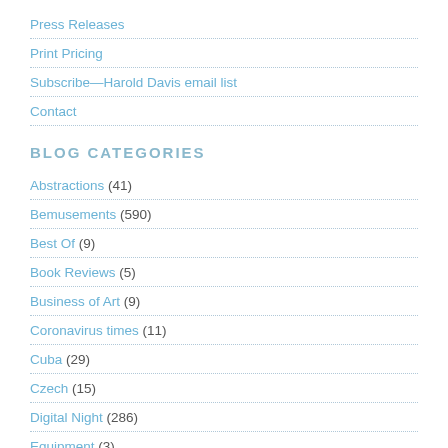Press Releases
Print Pricing
Subscribe—Harold Davis email list
Contact
BLOG CATEGORIES
Abstractions (41)
Bemusements (590)
Best Of (9)
Book Reviews (5)
Business of Art (9)
Coronavirus times (11)
Cuba (29)
Czech (15)
Digital Night (286)
Equipment (3)
Flickr (18)
Flowers (869)
France (119)
Fruits and Veggis on Light Box (6)